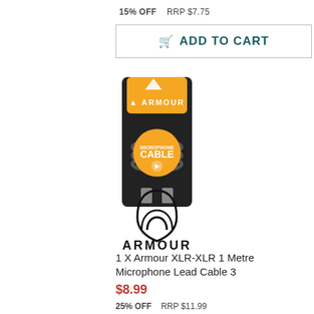15% OFF    RRP $7.75
ADD TO CART
[Figure (photo): Product photo of Armour XLR-XLR microphone cable in packaging with orange label, and Armour brand logo below]
1 X Armour XLR-XLR 1 Metre Microphone Lead Cable 3
$8.99
25% OFF    RRP $11.99